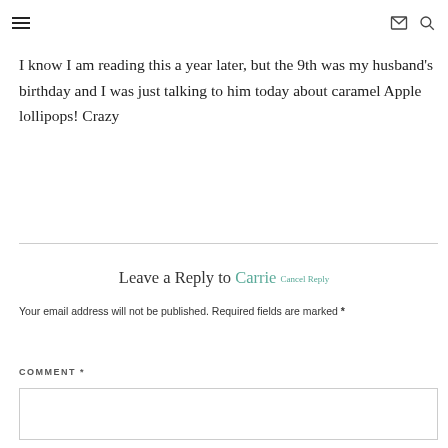≡  ✉ 🔍
I know I am reading this a year later, but the 9th was my husband's birthday and I was just talking to him today about caramel Apple lollipops! Crazy
Leave a Reply to Carrie Cancel Reply
Your email address will not be published. Required fields are marked *
COMMENT *